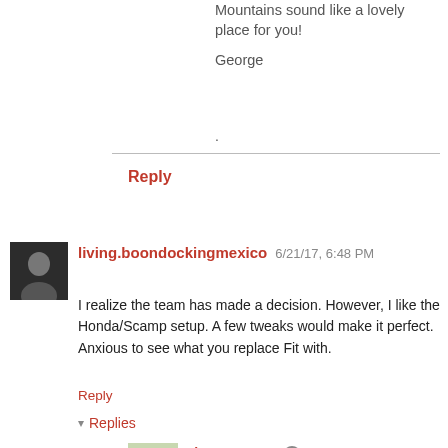Mountains sound like a lovely place for you!
George
.
Reply
living.boondockingmexico 6/21/17, 6:48 PM
I realize the team has made a decision. However, I like the Honda/Scamp setup. A few tweaks would make it perfect. Anxious to see what you replace Fit with.
Reply
▾ Replies
Tioga George 6/22/17, 1:26 AM
Hi LBM,
Yes, agree with your comment. In fact, the only